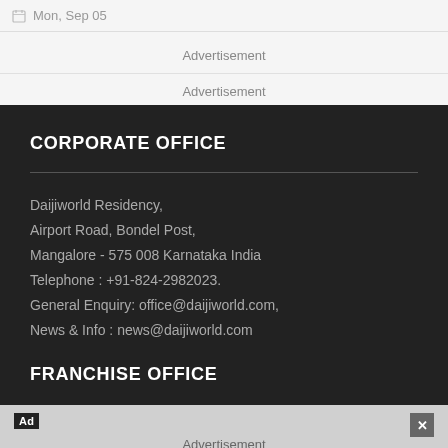Mon, Sep 05
Advertisement
Advertisement
CORPORATE OFFICE
Daijiworld Residency,
Airport Road, Bondel Post,
Mangalore - 575 008 Karnataka India
Telephone : +91-824-2982023.
General Enquiry: office@daijiworld.com,
News & Info : news@daijiworld.com
FRANCHISE OFFICE
Advertisement
Mishon Enterprises: